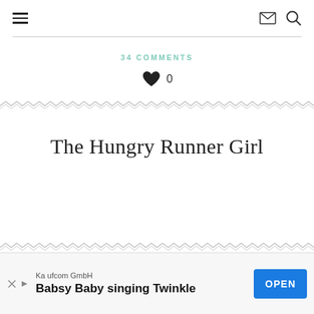Navigation hamburger menu, mail icon, search icon
34 COMMENTS
♥ 0
The Hungry Runner Girl
Ad: Kaufcom GmbH — Babsy Baby singing Twinkle — OPEN